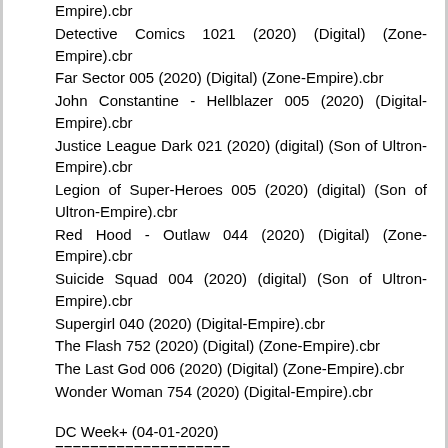Empire).cbr
Detective Comics 1021 (2020) (Digital) (Zone-Empire).cbr
Far Sector 005 (2020) (Digital) (Zone-Empire).cbr
John Constantine - Hellblazer 005 (2020) (Digital-Empire).cbr
Justice League Dark 021 (2020) (digital) (Son of Ultron-Empire).cbr
Legion of Super-Heroes 005 (2020) (digital) (Son of Ultron-Empire).cbr
Red Hood - Outlaw 044 (2020) (Digital) (Zone-Empire).cbr
Suicide Squad 004 (2020) (digital) (Son of Ultron-Empire).cbr
Supergirl 040 (2020) (Digital-Empire).cbr
The Flash 752 (2020) (Digital) (Zone-Empire).cbr
The Last God 006 (2020) (Digital) (Zone-Empire).cbr
Wonder Woman 754 (2020) (Digital-Empire).cbr
DC Week+ (04-01-2020)
====================
Batman - The Adventures Continue 001 (2020) (Digital) (Zone-Empire).cbr